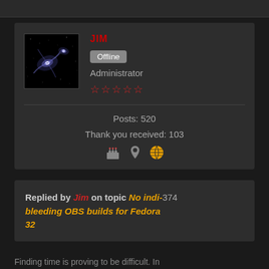JIM
Offline
Administrator
☆☆☆☆☆
Posts: 520
Thank you received: 103
Replied by Jim on topic No indi-374 bleeding OBS builds for Fedora 32
Finding time is proving to be difficult. In